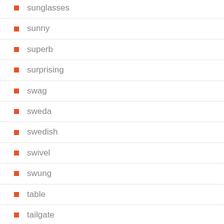sunglasses
sunny
superb
surprising
swag
sweda
swedish
swivel
swung
table
tailgate